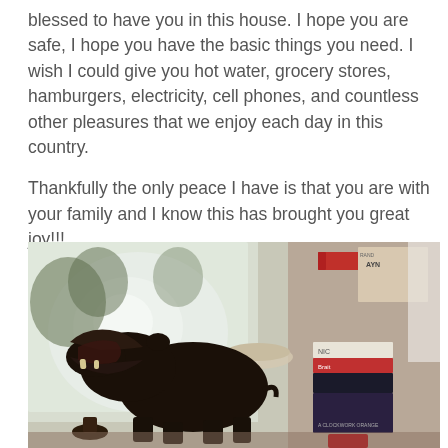blessed to have you in this house. I hope you are safe, I hope you have the basic things you need. I wish I could give you hot water, grocery stores, hamburgers, electricity, cell phones, and countless other pleasures that we enjoy each day in this country.

Thankfully the only peace I have is that you are with your family and I know this has brought you great joy!!!
[Figure (photo): A dark bronze or wooden hippopotamus figurine with its mouth wide open, positioned on a shelf or windowsill. In the background are stacks of books including titles visible such as 'A Clockwork Orange' and 'AYN' (likely Ayn Rand), a bowl, and a window with trees visible outside.]